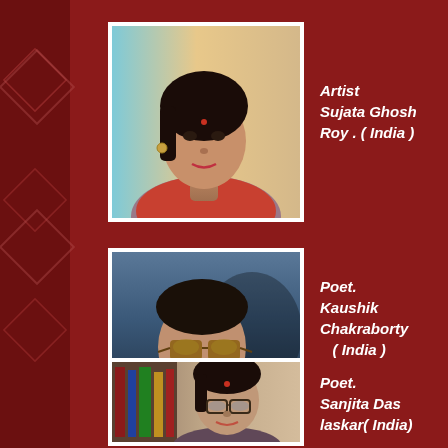[Figure (photo): Portrait photo of Sujata Ghosh Roy, a woman in Indian attire with jewelry, against a blue and beige background]
Artist Sujata Ghosh Roy . ( India )
[Figure (photo): Portrait photo of Kaushik Chakraborty, a man wearing sunglasses in an outdoor setting]
Poet. Kaushik Chakraborty ( India )
[Figure (photo): Portrait photo of Sanjita Das laskar, a woman with a bindi wearing glasses]
Poet. Sanjita Das laskar( India)